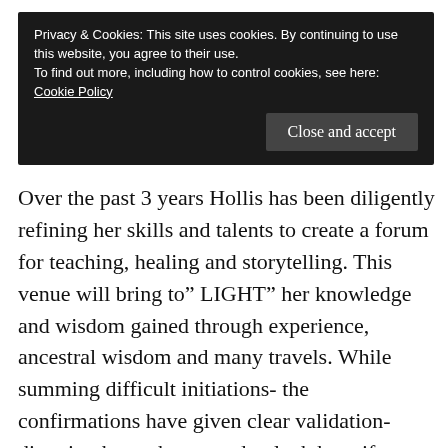Privacy & Cookies: This site uses cookies. By continuing to use this website, you agree to their use.
To find out more, including how to control cookies, see here: Cookie Policy
Close and accept
Over the past 3 years Hollis has been diligently refining her skills and talents to create a forum for teaching, healing and storytelling. This venue will bring to” LIGHT” her knowledge and wisdom gained through experience, ancestral wisdom and many travels. While summing difficult initiations- the confirmations have given clear validation- directing her to honor and unlock her gifts as well as talents – urging her to respectfully move ahead sharing her Lifetime Passion and